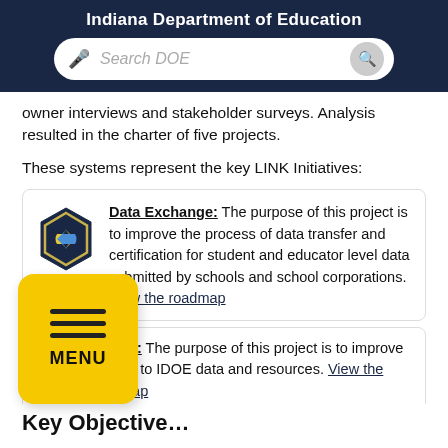Indiana Department of Education
owner interviews and stakeholder surveys. Analysis resulted in the charter of five projects.
These systems represent the key LINK Initiatives:
Data Exchange: The purpose of this project is to improve the process of data transfer and certification for student and educator level data submitted by schools and school corporations. View the roadmap
…view: The purpose of this project is to improve access to IDOE data and resources. View the roadmap
[Figure (other): Yellow MENU button overlay with hamburger menu icon]
Key Objectives…